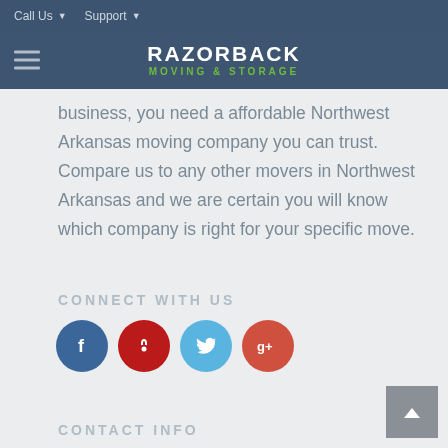Call Us  Support
[Figure (logo): Razorback Moving & Storage logo — white text RAZORBACK with green subtitle MOVING & STORAGE on dark blue background, with hamburger menu icon]
business, you need a affordable Northwest Arkansas moving company you can trust. Compare us to any other movers in Northwest Arkansas and we are certain you will know which company is right for your specific move.
CONNECT WITH US
[Figure (infographic): Four social media icons: Facebook (blue circle with f), Yelp (red circle with Yelp logo), Twitter (light blue circle with bird), Google+ (red circle with g+)]
CONTACT INFO